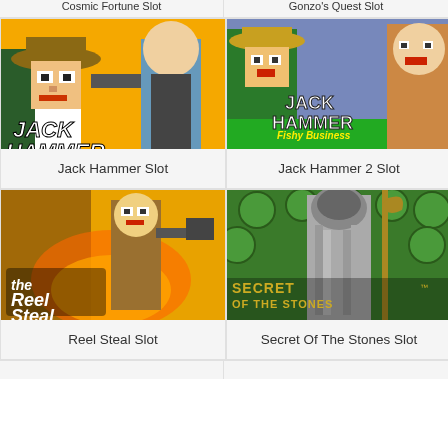Cosmic Fortune Slot
Gonzo's Quest Slot
[Figure (illustration): Jack Hammer slot game thumbnail with comic-style detective on orange background]
Jack Hammer Slot
[Figure (illustration): Jack Hammer 2 Fishy Business slot game thumbnail with comic characters on blue background]
Jack Hammer 2 Slot
[Figure (illustration): Reel Steal slot game thumbnail with man holding gun on yellow/orange background]
Reel Steal Slot
[Figure (illustration): Secret of the Stones slot game thumbnail with robed figure and green stone background]
Secret Of The Stones Slot